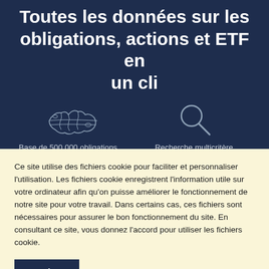Toutes les données sur les obligations, actions et ETF en un cli
[Figure (illustration): White outline icon of a world map]
Base de 500 000 obligations, actions et ETF du monde entier
[Figure (illustration): White outline icon of a magnifying glass / search symbol]
Recherche multicritère d'instruments financiers
Ce site utilise des fichiers cookie pour faciliter et personnaliser l'utilisation. Les fichiers cookie enregistrent l'information utile sur votre ordinateur afin qu'on puisse améliorer le fonctionnement de notre site pour votre travail. Dans certains cas, ces fichiers sont nécessaires pour assurer le bon fonctionnement du site. En consultant ce site, vous donnez l'accord pour utiliser les fichiers cookie.
Ok